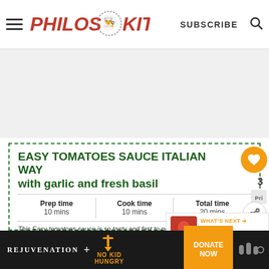Philos Kitchen — SUBSCRIBE
EASY TOMATOES SAUCE ITALIAN WAY with garlic and fresh basil
| Prep time | Cook time | Total time |
| --- | --- | --- |
| 10 mins | 10 mins | 20 mins |
This Easy tomatoes sauce is so tasty and fast to prepare! Tomatoes are cooked along with garlic and sweet b... time to soft them. The more tomatoes are ripe, the ... will be delicious! To prepare this recipe a vegetable mi... is mandatory, but I strongly suggest to use it. A blender works fine as well, but the sauce texture will be not the same!
[Figure (other): Footer advertisement: REJUVENATION + NO KID HUNGRY — DONATE NOW]
[Figure (other): What's Next overlay showing RICOTTA CHEESE...]